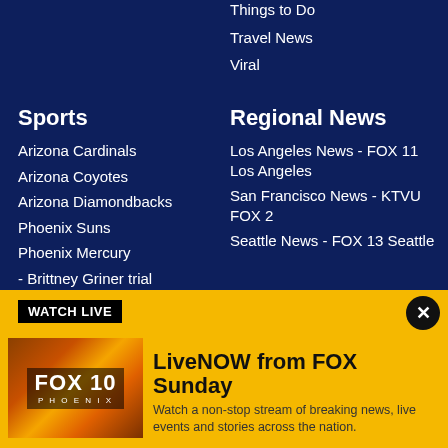Things to Do
Travel News
Viral
Sports
Arizona Cardinals
Arizona Coyotes
Arizona Diamondbacks
Phoenix Suns
Phoenix Mercury
- Brittney Griner trial
Soccer
- FIFA World Cup
Regional News
Los Angeles News - FOX 11 Los Angeles
San Francisco News - KTVU FOX 2
Seattle News - FOX 13 Seattle
WATCH LIVE
LiveNOW from FOX Sunday
Watch a non-stop stream of breaking news, live events and stories across the nation.